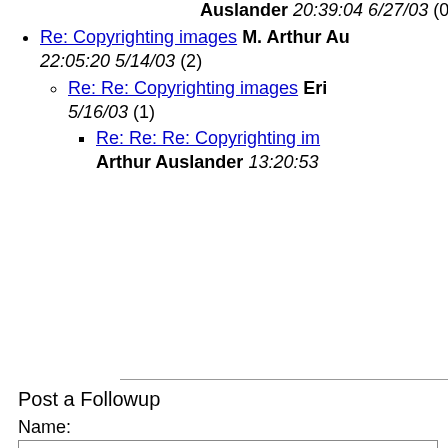Auslander 20:39:04 6/27/03 (0)
Re: Copyrighting images M. Arthur Auslander 22:05:20 5/14/03 (2)
Re: Re: Copyrighting images Eric 5/16/03 (1)
Re: Re: Re: Copyrighting images Arthur Auslander 13:20:53...
Post a Followup
Name:
E-Mail:
Subject: Re: Copyrighting images
Comments:
: I have several images I created for a artwork. I want to copyright them so I too many issues when it comes to reciev for them. Same thing goes for about 25 so I took that the band wants to use. M